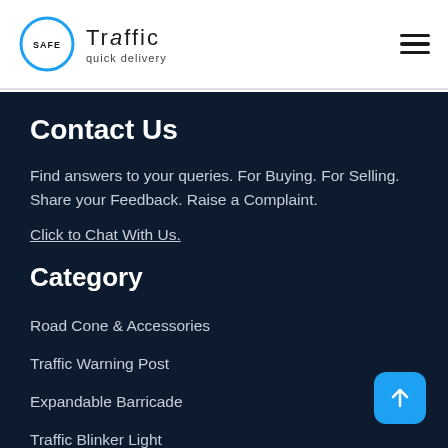[Figure (logo): Safe Traffic quick delivery logo with blue circle and brand name]
Contact Us
Find answers to your queries. For Buying. For Selling. Share your Feedback. Raise a Complaint.
Click to Chat With Us.
Category
Road Cone & Accessories
Traffic Warning Post
Expandable Barricade
Traffic Blinker Light